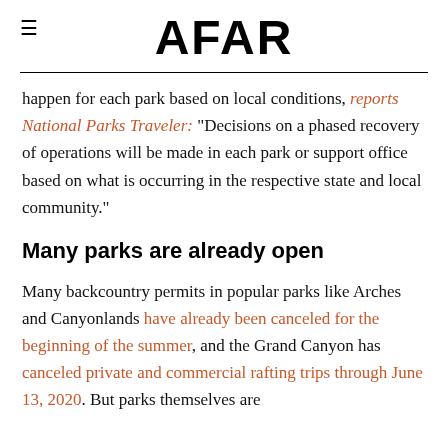AFAR
happen for each park based on local conditions, reports National Parks Traveler: “Decisions on a phased recovery of operations will be made in each park or support office based on what is occurring in the respective state and local community.”
Many parks are already open
Many backcountry permits in popular parks like Arches and Canyonlands have already been canceled for the beginning of the summer, and the Grand Canyon has canceled private and commercial rafting trips through June 13, 2020. But parks themselves are